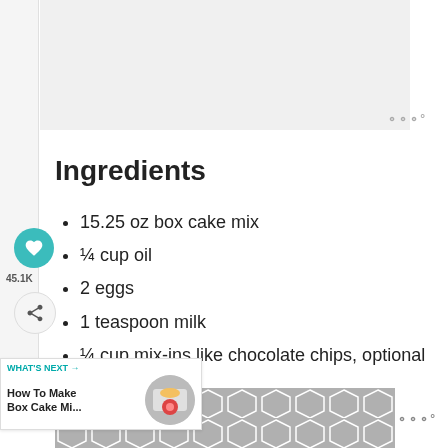[Figure (other): Top advertisement banner, gray rectangle]
Ingredients
15.25 oz box cake mix
¼ cup oil
2 eggs
1 teaspoon milk
¼ cup mix-ins like chocolate chips, optional
g, optional
[Figure (other): Bottom advertisement banner with geometric hexagon pattern in gray]
WHAT'S NEXT → How To Make Box Cake Mi...